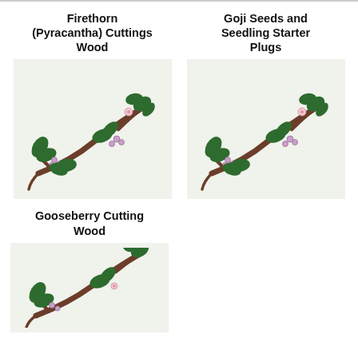Firethorn (Pyracantha) Cuttings Wood
[Figure (illustration): Illustration of a plant branch with dark green leaves, brown woody stem, and small pink flowers/berries]
Goji Seeds and Seedling Starter Plugs
[Figure (illustration): Illustration of a plant branch with dark green leaves, brown woody stem, and small pink flowers/berries]
Gooseberry Cutting Wood
[Figure (illustration): Illustration of a plant branch with dark green leaves, brown woody stem, and small pink flowers/berries, partially shown]